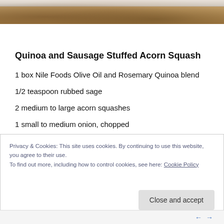[Figure (photo): Top portion of a food photo showing a plate/bowl on a granite or stone countertop surface, partially cropped at the top of the page]
Quinoa and Sausage Stuffed Acorn Squash
1 box Nile Foods Olive Oil and Rosemary Quinoa blend
1/2 teaspoon rubbed sage
2 medium to large acorn squashes
1 small to medium onion, chopped
2 Tablespoons olive oil
Privacy & Cookies: This site uses cookies. By continuing to use this website, you agree to their use.
To find out more, including how to control cookies, see here: Cookie Policy